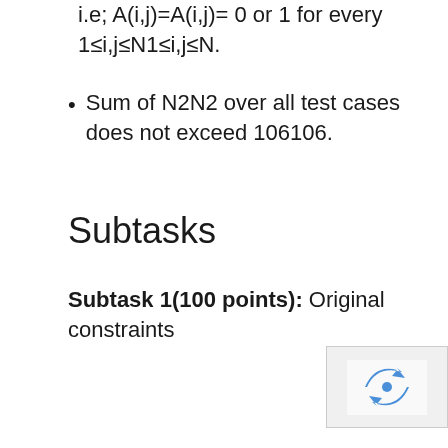i.e; A(i,j)=A(i,j)= 0 or 1 for every 1≤i,j≤N1≤i,j≤N.
Sum of N2N2 over all test cases does not exceed 106106.
Subtasks
Subtask 1(100 points): Original constraints
[Figure (other): reCAPTCHA logo/widget partially visible in bottom right corner]